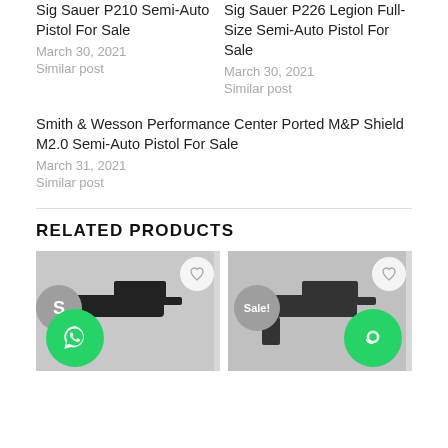Sig Sauer P210 Semi-Auto Pistol For Sale
March 30, 2021
Similar post
Sig Sauer P226 Legion Full-Size Semi-Auto Pistol For Sale
March 30, 2021
Similar post
Smith & Wesson Performance Center Ported M&P Shield M2.0 Semi-Auto Pistol For Sale
March 31, 2021
Similar post
RELATED PRODUCTS
[Figure (photo): Two pistol product cards with wishlist heart buttons, sale badges, WhatsApp and chat buttons overlaid on gun images]